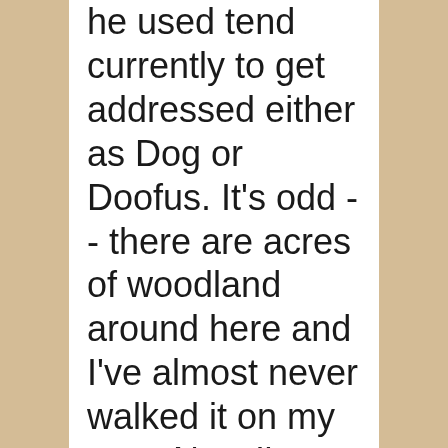he used tend currently to get addressed either as Dog or Doofus. It's odd -- there are acres of woodland around here and I've almost never walked it on my own. Now I'm starting to walk it continually, and am promising myself that there's a lot of work that needs